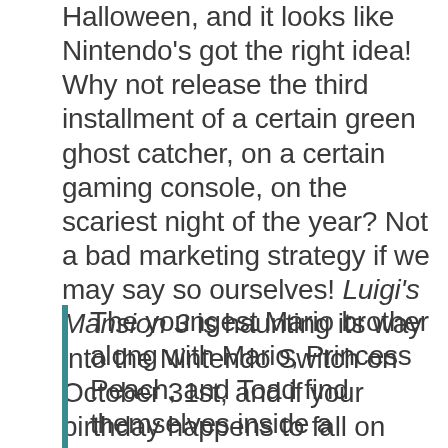Halloween, and it looks like Nintendo's got the right idea! Why not release the third installment of a certain green ghost catcher, on a certain gaming console, on the scariest night of the year? Not a bad marketing strategy if we may say so ourselves! Luigi's Mansion 3 is haunting its way into the Nintendo Switch on October 31st, and if your birthday happens to fall on that date then prepare yourself for one hilariously scary good time!
The youngest Mario brother along with Mario, Princess Peach, and Toad find themselves inside a luxurious hotel with all the five-star